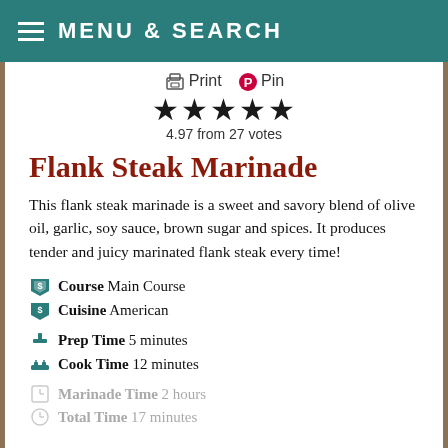MENU & SEARCH
Print  Pin
★★★★★
4.97 from 27 votes
Flank Steak Marinade
This flank steak marinade is a sweet and savory blend of olive oil, garlic, soy sauce, brown sugar and spices. It produces tender and juicy marinated flank steak every time!
Course  Main Course
Cuisine  American
Prep Time  5 minutes
Cook Time  12 minutes
Marinade Time  2 hours
Total Time  17 minutes